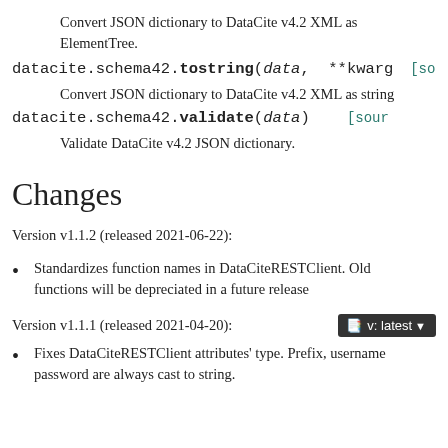Convert JSON dictionary to DataCite v4.2 XML as ElementTree.
datacite.schema42.tostring(data, **kwargs [source]
Convert JSON dictionary to DataCite v4.2 XML as string
datacite.schema42.validate(data) [source]
Validate DataCite v4.2 JSON dictionary.
Changes
Version v1.1.2 (released 2021-06-22):
Standardizes function names in DataCiteRESTClient. Old functions will be depreciated in a future release
Version v1.1.1 (released 2021-04-20):
Fixes DataCiteRESTClient attributes' type. Prefix, username password are always cast to string.